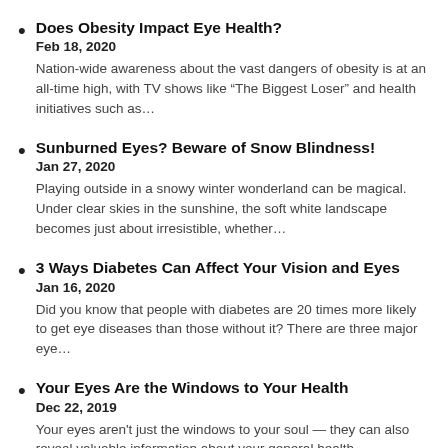Does Obesity Impact Eye Health?
Feb 18, 2020
Nation-wide awareness about the vast dangers of obesity is at an all-time high, with TV shows like “The Biggest Loser” and health initiatives such as…
Sunburned Eyes? Beware of Snow Blindness!
Jan 27, 2020
Playing outside in a snowy winter wonderland can be magical. Under clear skies in the sunshine, the soft white landscape becomes just about irresistible, whether…
3 Ways Diabetes Can Affect Your Vision and Eyes
Jan 16, 2020
Did you know that people with diabetes are 20 times more likely to get eye diseases than those without it? There are three major eye…
Your Eyes Are the Windows to Your Health
Dec 22, 2019
Your eyes aren't just the windows to your soul — they can also reveal valuable information about your general health